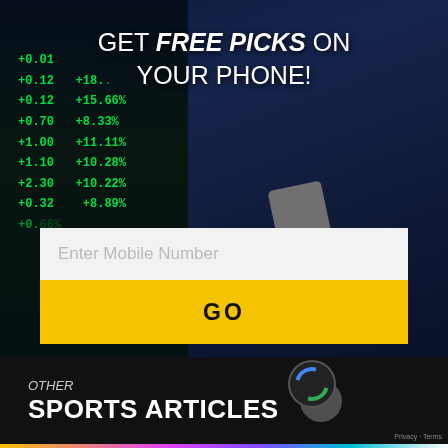[Figure (photo): Hero banner showing a businessman in suit looking at a smartphone, with a stock market ticker board showing green numbers in the background. Text overlay: GET FREE PICKS ON YOUR PHONE!]
GET FREE PICKS ON YOUR PHONE!
Enter Mobile Number
GO
OTHER
SPORTS ARTICLES